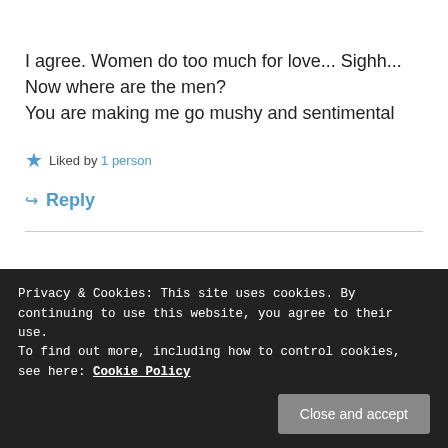kim · May 22, 2019 at 9:03 am
I agree. Women do too much for love... Sighh...
Now where are the men?
You are making me go mushy and sentimental
Liked by 1 person
Reply
PATTY · May 23, 2019 at 7:36 am
Privacy & Cookies: This site uses cookies. By continuing to use this website, you agree to their use.
To find out more, including how to control cookies, see here: Cookie Policy